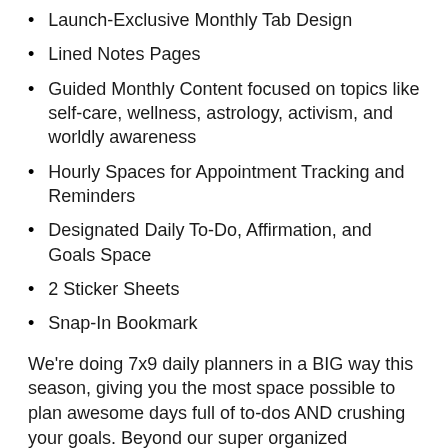Launch-Exclusive Monthly Tab Design
Lined Notes Pages
Guided Monthly Content focused on topics like self-care, wellness, astrology, activism, and worldly awareness
Hourly Spaces for Appointment Tracking and Reminders
Designated Daily To-Do, Affirmation, and Goals Space
2 Sticker Sheets
Snap-In Bookmark
We're doing 7x9 daily planners in a BIG way this season, giving you the most space possible to plan awesome days full of to-dos AND crushing your goals. Beyond our super organized daily/monthly layout, you'll find that each month of the year is